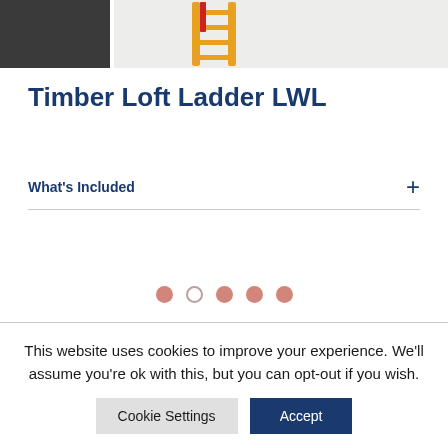[Figure (photo): Product images showing a dark door on the left and a timber loft ladder (yellow/wooden) on the right against a white background]
Timber Loft Ladder LWL
What's Included
[Figure (other): Carousel navigation dots: five dots where the first, third, fourth, and fifth are filled pink/red and the second is an outline circle]
This website uses cookies to improve your experience. We'll assume you're ok with this, but you can opt-out if you wish.